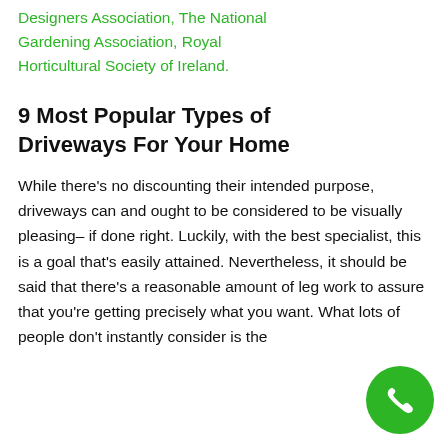Designers Association, The National Gardening Association, Royal Horticultural Society of Ireland.
9 Most Popular Types of Driveways For Your Home
While there's no discounting their intended purpose, driveways can and ought to be considered to be visually pleasing– if done right. Luckily, with the best specialist, this is a goal that's easily attained. Nevertheless, it should be said that there's a reasonable amount of leg work to assure that you're getting precisely what you want. What lots of people don't instantly consider is the